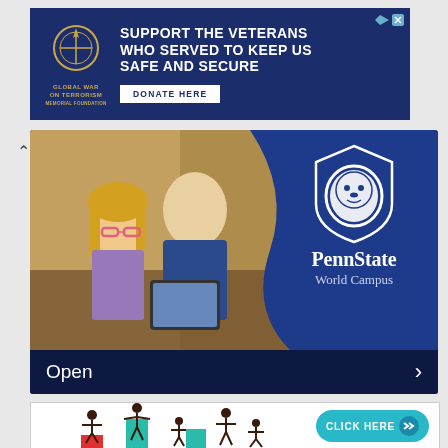[Figure (infographic): Global War on Terrorism Memorial Foundation ad banner on dark navy background. White shield/wreath logo on left, bold white text 'SUPPORT THE VETERANS WHO SERVED TO KEEP US SAFE AND SECURE', white 'DONATE HERE' button. Small ad-close icons top right.]
[Figure (infographic): Penn State World Campus advertisement. Left side shows photo of man and young girl with pink glasses looking at tablet. Right side is navy blue with Penn State lion shield logo, 'PennState World Campus' text. Bottom dark bar with 'Open' text and right arrow chevron. Navigation up-arrow on far left.]
[Figure (infographic): Partial infographic banner showing stick figure people of different heights with colored bars (red, teal/green) beneath them, suggesting a bar chart or growth infographic. Teal 'CLICK HERE' button with double chevron on right side.]